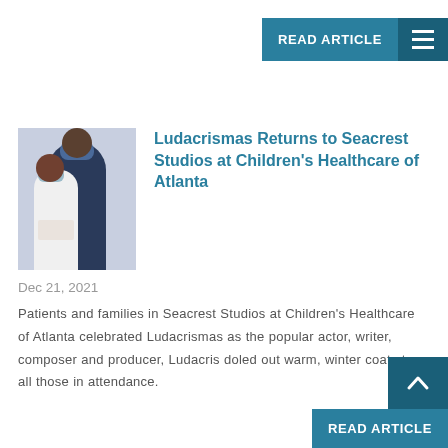READ ARTICLE
[Figure (photo): Photo of a child and adult wearing masks at Seacrest Studios, Children's Healthcare of Atlanta]
Ludacrismas Returns to Seacrest Studios at Children's Healthcare of Atlanta
Dec 21, 2021
Patients and families in Seacrest Studios at Children's Healthcare of Atlanta celebrated Ludacrismas as the popular actor, writer, composer and producer, Ludacris doled out warm, winter coats to all those in attendance.
READ ARTICLE